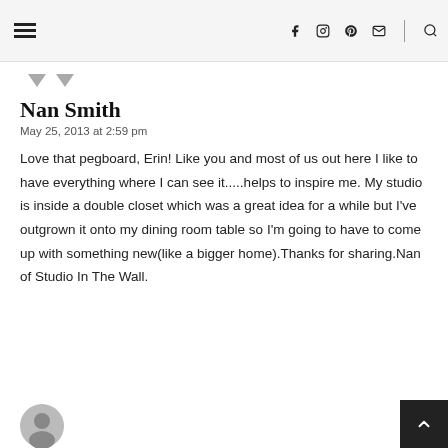Navigation header with hamburger menu and social icons (Facebook, Instagram, Pinterest, Mail, Search)
Nan Smith
May 25, 2013 at 2:59 pm
Love that pegboard, Erin! Like you and most of us out here I like to have everything where I can see it.....helps to inspire me. My studio is inside a double closet which was a great idea for a while but I've outgrown it onto my dining room table so I'm going to have to come up with something new(like a bigger home).Thanks for sharing.Nan of Studio In The Wall.